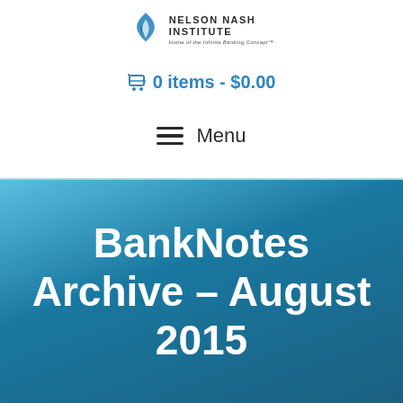[Figure (logo): Nelson Nash Institute logo with flame/leaf icon and tagline 'Home of the Infinite Banking Concept™']
🛒 0 items - $0.00
≡ Menu
BankNotes Archive – August 2015